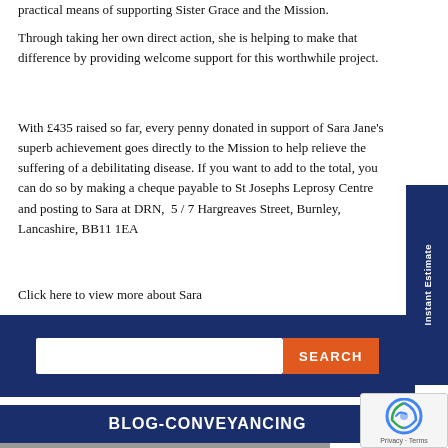practical means of supporting Sister Grace and the Mission.
Through taking her own direct action, she is helping to make that difference by providing welcome support for this worthwhile project.
With £435 raised so far, every penny donated in support of Sara Jane's superb achievement goes directly to the Mission to help relieve the suffering of a debilitating disease. If you want to add to the total, you can do so by making a cheque payable to St Josephs Leprosy Centre and posting to Sara at DRN,  5 / 7 Hargreaves Street, Burnley, Lancashire, BB11 1EA
Click here to view more about Sara
[Figure (screenshot): Search bar with dark navy background, white input field, and orange SEARCH button]
[Figure (screenshot): Dark navy banner with bold white text reading BLOG-CONVEYANCING]
[Figure (photo): Partial image strip at bottom of page]